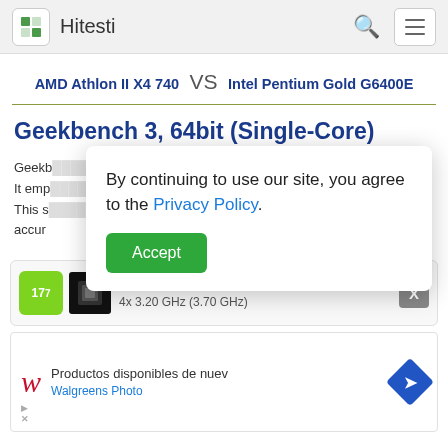Hitesti
AMD Athlon II X4 740 VS Intel Pentium Gold G6400E
Geekbench 3, 64bit (Single-Core)
Geekbench ... processors. It emp ... re. This s ... vide accur...
AMD Athlon II X4 740 4x 3.20 GHz (3.70 GHz)
[Figure (screenshot): Walgreens Photo advertisement: Productos disponibles de nuev / Walgreens Photo]
By continuing to use our site, you agree to the Privacy Policy. Accept